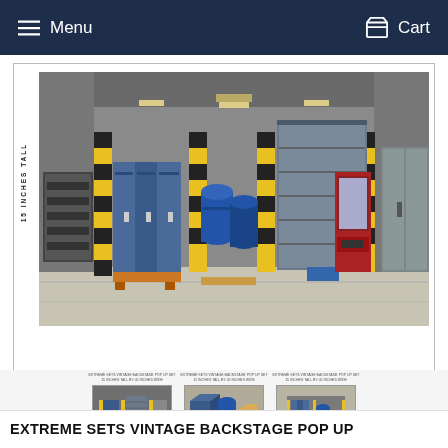Menu  Cart
[Figure (photo): Panoramic view of a vintage backstage pop-up set showing a warehouse interior with lockers, blue barrels, garage doors, vending machine, and yellow-black striped pillars. Label '15 INCHES TALL' rotated vertically on left side.]
[Figure (photo): Thumbnail 1: Front view of vintage backstage warehouse scene]
[Figure (photo): Thumbnail 2: Isometric view of backstage set pieces including barrels and lockers]
[Figure (photo): Thumbnail 3: Isometric view of backstage set with blue barrels and accessories]
EXTREME SETS VINTAGE BACKSTAGE POP UP